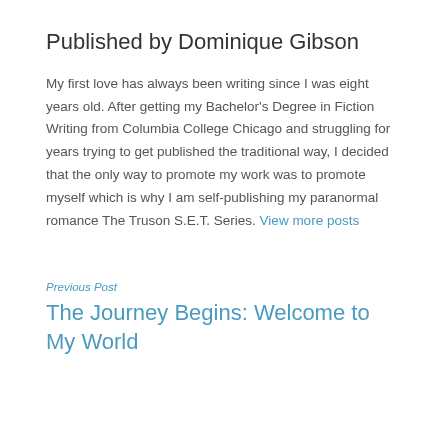Published by Dominique Gibson
My first love has always been writing since I was eight years old. After getting my Bachelor's Degree in Fiction Writing from Columbia College Chicago and struggling for years trying to get published the traditional way, I decided that the only way to promote my work was to promote myself which is why I am self-publishing my paranormal romance The Truson S.E.T. Series. View more posts
Previous Post
The Journey Begins: Welcome to My World